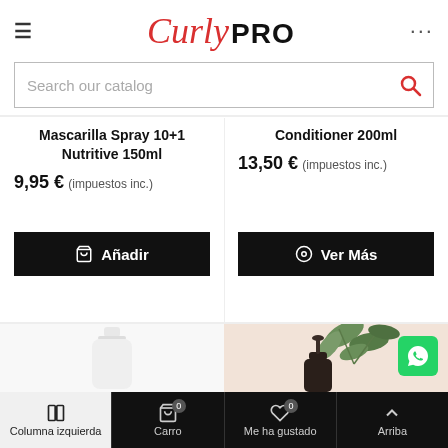Curly PRO
Search our catalog
Mascarilla Spray 10+1 Nutritive 150ml
9,95 € (impuestos inc.)
Conditioner 200ml
13,50 € (impuestos inc.)
[Figure (screenshot): Add to cart button: cart icon + Añadir]
[Figure (screenshot): Ver Más button with eye icon]
[Figure (photo): White bottle product photo (lower left)]
[Figure (photo): Dark pump bottle with eucalyptus leaves on pink background (lower right)]
Columna izquierda  Carro 0  Me ha gustado 0  Arriba